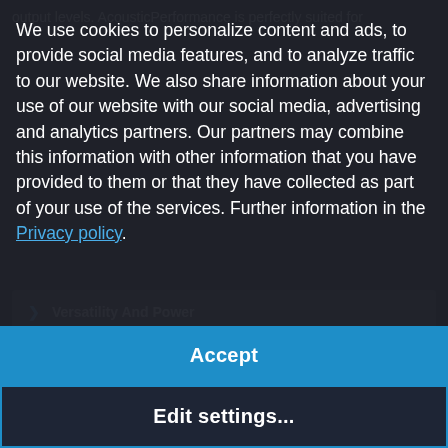output levels. AcousticPerformance is perfectly suited for
We use cookies to personalize content and ads, to provide social media features, and to analyze traffic to our website. We also share information about your use of our website with our social media, advertising and analytics partners. Our partners may combine this information with other information that you have provided to them or that they have collected as part of your use of the services. Further information in the Privacy policy.
> Professional Deployment And Design
> Recyclable Packaging
Accept
SELECT A MODEL
Edit settings...